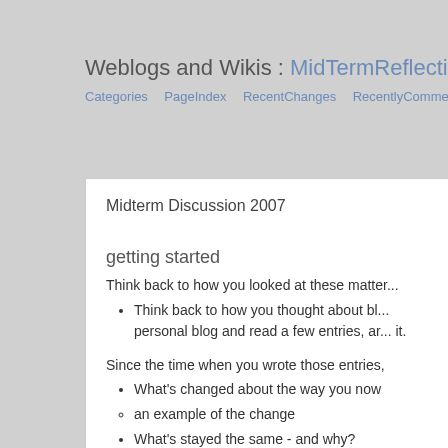Weblogs and Wikis : MidTermReflection
Categories   PageIndex   RecentChanges   RecentlyCommented
Midterm Discussion 2007
getting started
Think back to how you looked at these matters
Think back to how you thought about blogs. Find a personal blog and read a few entries, and reflect on it.
Since the time when you wrote those entries,
What's changed about the way you now
an example of the change
What's stayed the same - and why?